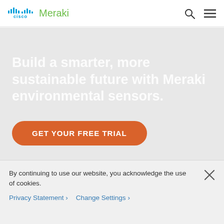Cisco Meraki
Build a smarter, more sustainable future with Meraki environmental sensors.
GET YOUR FREE TRIAL
By continuing to use our website, you acknowledge the use of cookies.
Privacy Statement › Change Settings ›